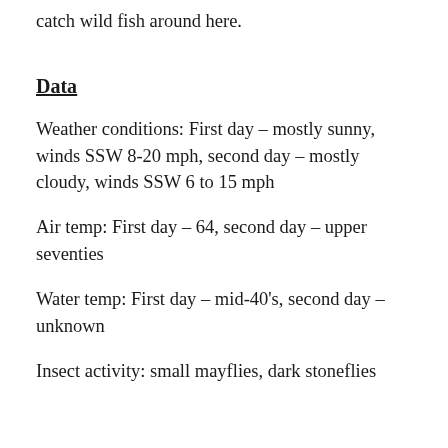catch wild fish around here.
Data
Weather conditions: First day – mostly sunny, winds SSW 8-20 mph, second day – mostly cloudy, winds SSW 6 to 15 mph
Air temp: First day – 64, second day – upper seventies
Water temp: First day – mid-40's, second day – unknown
Insect activity: small mayflies, dark stoneflies